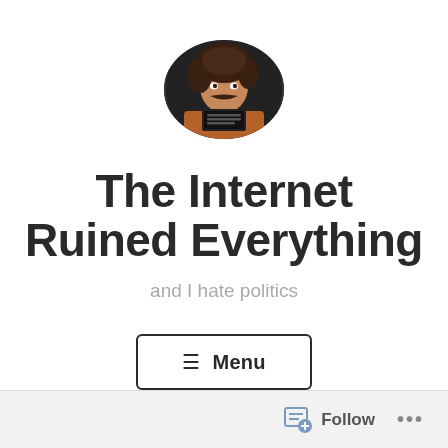[Figure (photo): Circular profile photo of a man with curly hair and a mustache, holding a booking sign, styled like a mugshot photo]
The Internet Ruined Everything
and I hate politics
≡ Menu
Follow ...